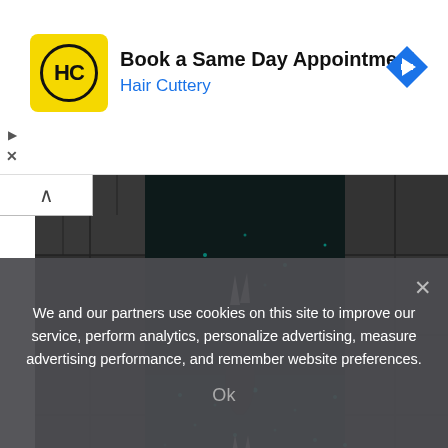[Figure (screenshot): Advertisement banner for Hair Cuttery with yellow logo, text 'Book a Same Day Appointment' and 'Hair Cuttery', and a blue navigation arrow icon]
[Figure (screenshot): Minecraft screenshot showing a dark underground cave with teal-lit blocks, stone walls, and a character visible from above]
The Warden doesn't spawn like regular mobs, simply popping into existence in areas of low light level the right distance from the player. Instead, the Warden's arrival is triggered by
We and our partners use cookies on this site to improve our service, perform analytics, personalize advertising, measure advertising performance, and remember website preferences.
Ok